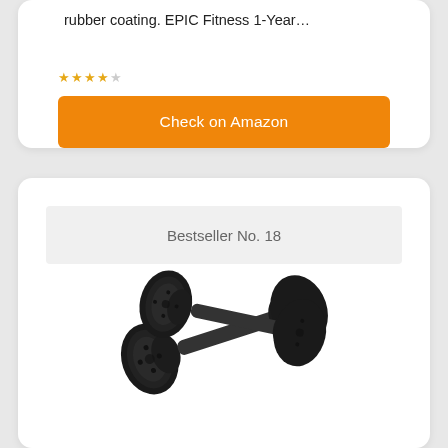rubber coating. EPIC Fitness 1-Year…
[Figure (other): Orange 'Check on Amazon' button]
Bestseller No. 18
[Figure (photo): A pair of black adjustable dumbbells stacked on each other]